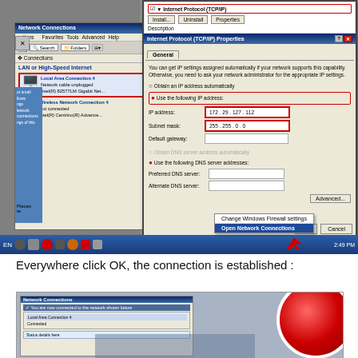[Figure (screenshot): Windows XP Network Connections window and Internet Protocol (TCP/IP) Properties dialog showing IP address 172.29.127.112 and Subnet mask 255.255.0.0 with 'Use the following IP address' selected. Red boxes highlight key fields. Taskbar shows 'Open Network Connections' context menu.]
Everywhere click OK, the connection is established :
[Figure (screenshot): Windows XP desktop screenshot showing a network connection established dialog, with a red circular logo visible on the right side.]